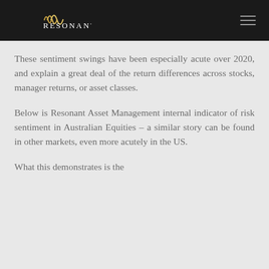Resonant
These sentiment swings have been especially acute over 2020, and explain a great deal of the return differences across stocks, manager returns, or asset classes.
Below is Resonant Asset Management internal indicator of risk sentiment in Australian Equities – a similar story can be found in other markets, even more acutely in the US.
What this demonstrates is the